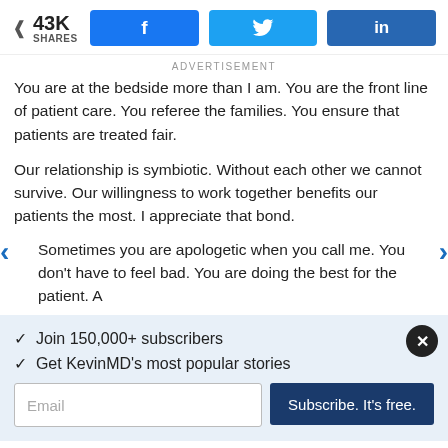43K SHARES
ADVERTISEMENT
You are at the bedside more than I am. You are the front line of patient care. You referee the families. You ensure that patients are treated fair.
Our relationship is symbiotic. Without each other we cannot survive. Our willingness to work together benefits our patients the most. I appreciate that bond.
Sometimes you are apologetic when you call me. You don't have to feel bad. You are doing the best for the patient. A
✓ Join 150,000+ subscribers
✓ Get KevinMD's most popular stories
Email
Subscribe. It's free.